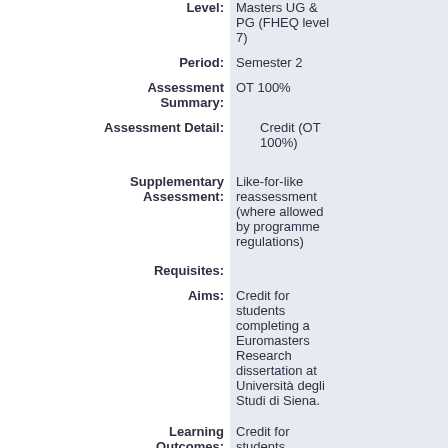Level: Masters UG & PG (FHEQ level 7)
Period: Semester 2
Assessment Summary: OT 100%
Assessment Detail: Credit (OT 100%)
Supplementary Assessment: Like-for-like reassessment (where allowed by programme regulations)
Requisites:
Aims: Credit for students completing a Euromasters Research dissertation at Università degli Studi di Siena.
Learning Outcomes: Credit for students completing a Euromasters